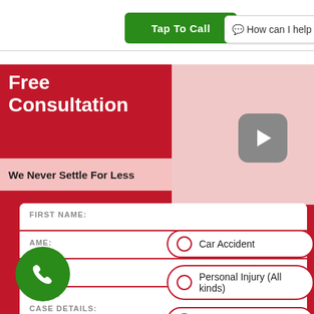[Figure (screenshot): Green 'Tap To Call' button at top of page]
[Figure (screenshot): Chat widget overlay saying 'How can I help you?']
Free Consultation
We Never Settle For Less
[Figure (screenshot): Video play button on pink panel]
FIRST NAME:
AME:
EMAIL:
PHONE:
CASE DETAILS:
Car Accident
Personal Injury (All kinds)
Slip & Fall
[Figure (screenshot): Green phone FAB (floating action button) icon]